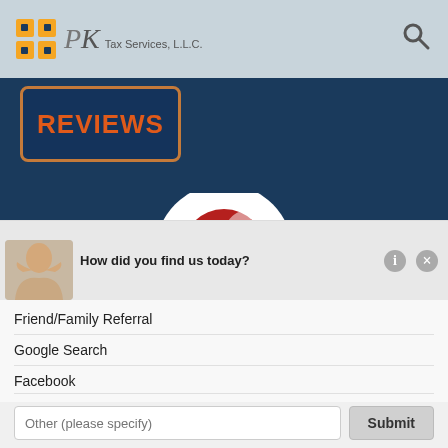[Figure (logo): PK Tax Services LLC logo with grid icon]
[Figure (logo): St. Charles Chamber of Commerce badge with squirrel in red circle, map pin shape]
[Figure (screenshot): REVIEWS button with orange border on dark navy background]
How did you find us today?
Friend/Family Referral
Google Search
Facebook